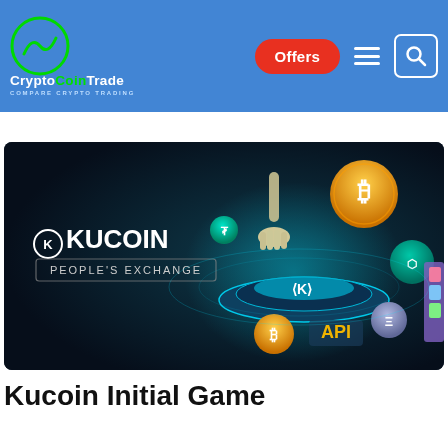CryptoCoinTrade - Compare Crypto Trading | Offers | Menu | Search
[Figure (illustration): KuCoin exchange promotional banner showing a robotic hand touching a glowing crypto trading interface with various cryptocurrency coins (Bitcoin, Tether, Binance Coin, Ethereum) floating around and the text 'KUCOIN PEOPLE'S EXCHANGE' and 'API' visible on dark background]
Kucoin Initial Game